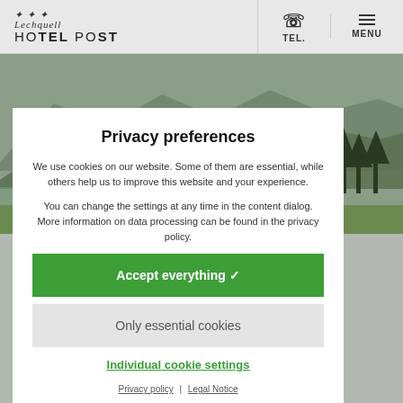Lechquell Hotel Post — TEL. MENU
[Figure (photo): Mountain landscape background with green hills, lake, and trees]
Privacy preferences
We use cookies on our website. Some of them are essential, while others help us to improve this website and your experience.
You can change the settings at any time in the content dialog. More information on data processing can be found in the privacy policy.
Accept everything 🗸
Only essential cookies
Individual cookie settings
Privacy policy | Legal Notice